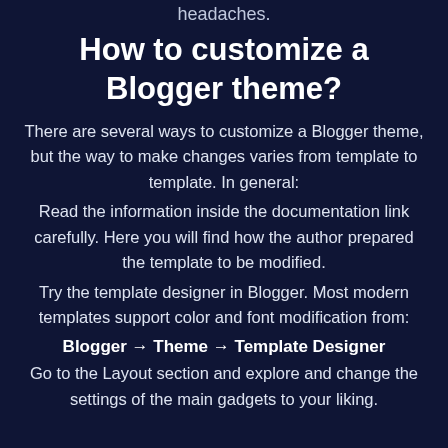headaches.
How to customize a Blogger theme?
There are several ways to customize a Blogger theme, but the way to make changes varies from template to template. In general:
Read the information inside the documentation link carefully. Here you will find how the author prepared the template to be modified.
Try the template designer in Blogger. Most modern templates support color and font modification from:
Blogger → Theme → Template Designer
Go to the Layout section and explore and change the settings of the main gadgets to your liking.